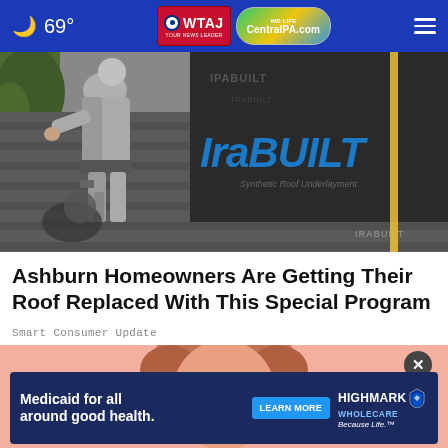69° | WTAJ CentralPA.com
[Figure (photo): Roofer working on a roof with IraBUILT synthetic roof underlayment rolls visible in background]
Ashburn Homeowners Are Getting Their Roof Replaced With This Special Program
Smart Consumer Update
[Figure (photo): Advertisement banner: Medicaid for all around good health. LEARN MORE. HIGHMARK WHOLECARE Because Life.]